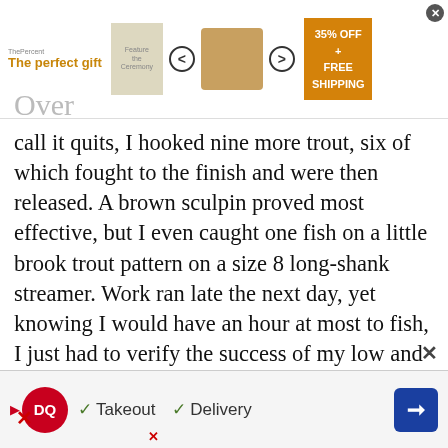[Figure (screenshot): Top advertisement banner featuring 'The perfect gift' text in orange, product images of a nut bowl, navigation arrows, and a gold/orange promo box reading '35% OFF + FREE SHIPPING'. Close button in top right.]
call it quits, I hooked nine more trout, six of which fought to the finish and were then released. A brown sculpin proved most effective, but I even caught one fish on a little brook trout pattern on a size 8 long-shank streamer. Work ran late the next day, yet knowing I would have an hour at most to fish, I just had to verify the success of my low and slow tactic.

This time I chose a deep, slow pool on a bend of Three Brooks where I knew dozens of
[Figure (screenshot): Bottom advertisement banner for Dairy Queen showing DQ logo, checkmarks for Takeout and Delivery options, and a blue navigation arrow. Close buttons visible.]